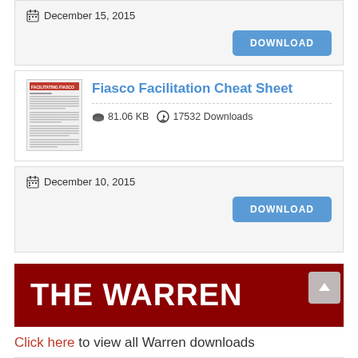December 15, 2015
DOWNLOAD
Fiasco Facilitation Cheat Sheet
81.06 KB   17532 Downloads
December 10, 2015
DOWNLOAD
THE WARREN
Click here to view all Warren downloads